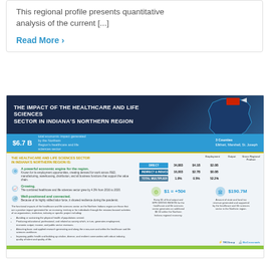This regional profile presents quantitative analysis of the current [...]
Read More ›
[Figure (infographic): Infographic titled 'THE IMPACT OF THE HEALTHCARE AND LIFE SCIENCES SECTOR IN INDIANA'S NORTHERN REGION'. Shows $6.7B total economic impact, 3 Counties (Elkhart, Marshall, St. Joseph). Lists sector attributes: powerful economic engine, growing, well-positioned and connected. Table with Direct, Indirect & Induced, and Total Multiplier rows showing Employment, Output, and Gross Regional Product columns. Bottom stats: $1 = +50¢ multiplier effect and $190.7M state and local tax revenue. Logos for TRCGroup and BioCrossroads at bottom right.]